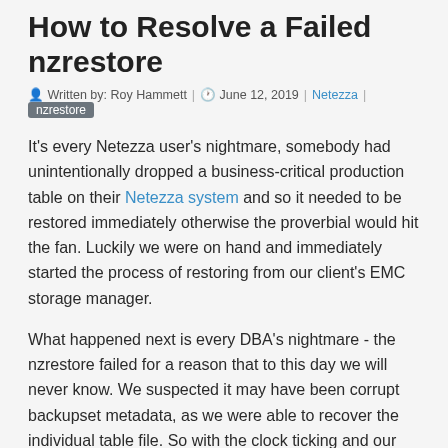How to Resolve a Failed nzrestore
Written by: Roy Hammett | June 12, 2019 | Netezza | nzrestore
It’s every Netezza user’s nightmare, somebody had unintentionally dropped a business-critical production table on their Netezza system and so it needed to be restored immediately otherwise the proverbial would hit the fan. Luckily we were on hand and immediately started the process of restoring from our client’s EMC storage manager.
What happened next is every DBA’s nightmare - the nzrestore failed for a reason that to this day we will never know. We suspected it may have been corrupt backupset metadata, as we were able to recover the individual table file. So with the clock ticking and our client breathing down our neck, we had to manually reconstruct a new backupset and replace the empty table data file with the one we